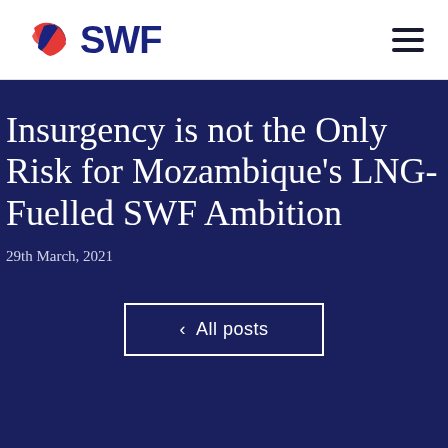SWF
Insurgency is not the Only Risk for Mozambique's LNG-Fuelled SWF Ambition
29th March, 2021
< All posts